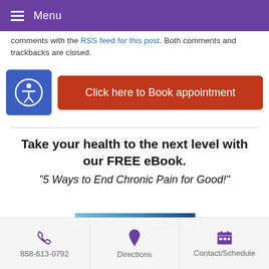Menu
comments with the RSS feed for this post. Both comments and trackbacks are closed.
[Figure (other): Accessibility icon button (blue square with person icon) and red 'Click here to Book appointment' button]
Take your health to the next level with our FREE eBook. “5 Ways to End Chronic Pain for Good!”
[Figure (other): Partial eBook cover image showing '5 Ways to End Chronic Pain' title with blue mountain/landscape background]
858-613-0792  Directions  Contact/Schedule